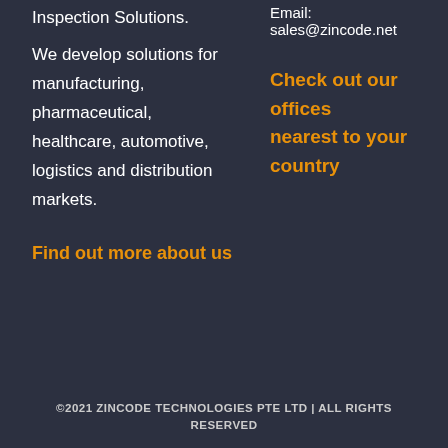Inspection Solutions.
We develop solutions for manufacturing, pharmaceutical, healthcare, automotive, logistics and distribution markets.
Find out more about us
Email: sales@zincode.net
Check out our offices nearest to your country
©2021 ZINCODE TECHNOLOGIES PTE LTD | ALL RIGHTS RESERVED